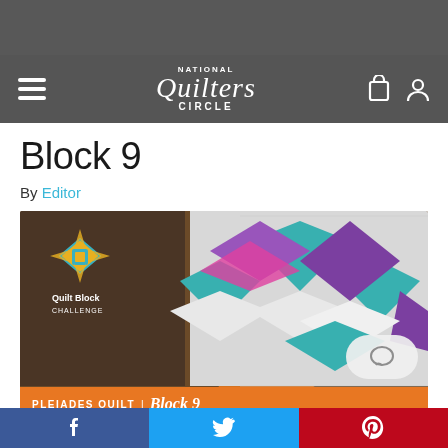[Figure (screenshot): Top dark gray advertisement/banner bar]
National Quilters Circle — navigation bar with hamburger menu, logo, and icons
Block 9
By Editor
[Figure (photo): Featured image of a colorful quilt block challenge with purple, teal, pink colors. Orange bar at bottom reads: PLEIADES QUILT | Block 9]
Well, we did it! We finally made it to our final block of the